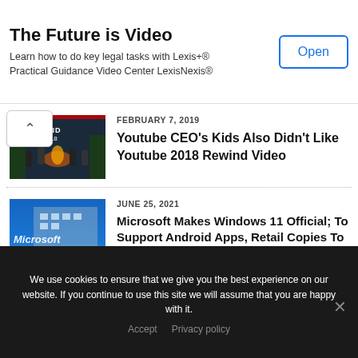The Future is Video
Learn how to do key legal tasks with Lexis+® Practical Guidance Video Center LexisNexis®
Open
[Figure (photo): YouTube Rewind 2018 thumbnail with group of people and campfire]
FEBRUARY 7, 2019
Youtube CEO's Kids Also Didn't Like Youtube 2018 Rewind Video
[Figure (photo): Microsoft logo on building with colorful Windows logo]
JUNE 25, 2021
Microsoft Makes Windows 11 Official; To Support Android Apps, Retail Copies To Be Available Early Next Year
We use cookies to ensure that we give you the best experience on our website. If you continue to use this site we will assume that you are happy with it.
Accept  Privacy policy